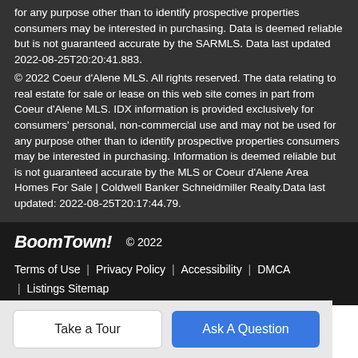for any purpose other than to identify prospective properties consumers may be interested in purchasing. Data is deemed reliable but is not guaranteed accurate by the SARMLS. Data last updated 2022-08-25T20:20:41.883.
© 2022 Coeur d'Alene MLS. All rights reserved. The data relating to real estate for sale or lease on this web site comes in part from Coeur d'Alene MLS. IDX information is provided exclusively for consumers' personal, non-commercial use and may not be used for any purpose other than to identify prospective properties consumers may be interested in purchasing. Information is deemed reliable but is not guaranteed accurate by the MLS or Coeur d'Alene Area Homes For Sale | Coldwell Banker Schneidmiller Realty.Data last updated: 2022-08-25T20:17:44.79.
BoomTown! © 2022
Terms of Use | Privacy Policy | Accessibility | DMCA | Listings Sitemap